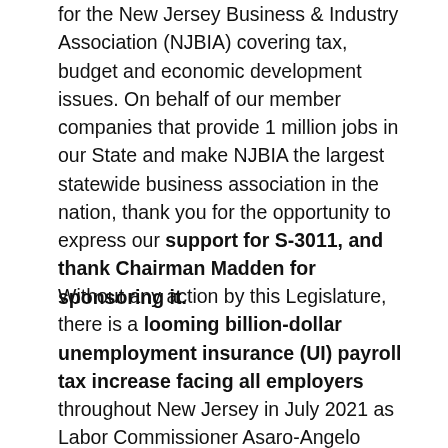for the New Jersey Business & Industry Association (NJBIA) covering tax, budget and economic development issues. On behalf of our member companies that provide 1 million jobs in our State and make NJBIA the largest statewide business association in the nation, thank you for the opportunity to express our support for S-3011, and thank Chairman Madden for sponsoring it.
Without any action by this Legislature, there is a looming billion-dollar unemployment insurance (UI) payroll tax increase facing all employers throughout New Jersey in July 2021 as Labor Commissioner Asaro-Angelo recently testified during the Senate budget hearings and OLS research estimated as per recent news reports. Even worse is the fact that this payroll tax increase could be even larger than originally expected...